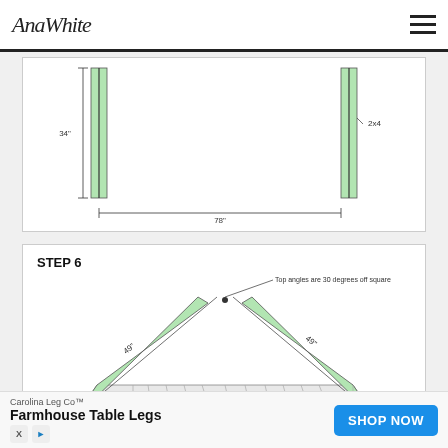AnaWhite
[Figure (engineering-diagram): Woodworking diagram showing two vertical green 2x4 posts with dimension lines: 34 inches height on left post, 78 inches total width between posts]
STEP 6
[Figure (engineering-diagram): Woodworking diagram showing a peaked chevron/roof-like structure with two green angled boards meeting at the top. Labeled: Top angles are 30 degrees off square. Left side labeled 49 inches, right side labeled 49 inches.]
Carolina Leg Co™ Farmhouse Table Legs SHOP NOW